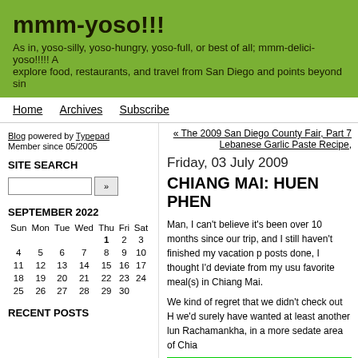mmm-yoso!!!
As in, yoso-silly, yoso-hungry, yoso-full, or best of all; mmm-delici-yoso!!!!! A explore food, restaurants, and travel from San Diego and points beyond sin
Home   Archives   Subscribe
Blog powered by Typepad
Member since 05/2005
SITE SEARCH
SEPTEMBER 2022
| Sun | Mon | Tue | Wed | Thu | Fri | Sat |
| --- | --- | --- | --- | --- | --- | --- |
|  |  |  |  | 1 | 2 | 3 |
| 4 | 5 | 6 | 7 | 8 | 9 | 10 |
| 11 | 12 | 13 | 14 | 15 | 16 | 17 |
| 18 | 19 | 20 | 21 | 22 | 23 | 24 |
| 25 | 26 | 27 | 28 | 29 | 30 |  |
RECENT POSTS
« The 2009 San Diego County Fair, Part 7
Lebanese Garlic Paste Recipe,
Friday, 03 July 2009
CHIANG MAI: HUEN PHEN
Man, I can't believe it's been over 10 months since our trip, and I still haven't finished my vacation posts done, I thought I'd deviate from my usu favorite meal(s) in Chiang Mai.
We kind of regret that we didn't check out H we'd surely have wanted at least another lun Rachamankha, in a more sedate area of Chia
[Figure (photo): Photo of food or restaurant scene in Chiang Mai, shown at bottom of post with green border]